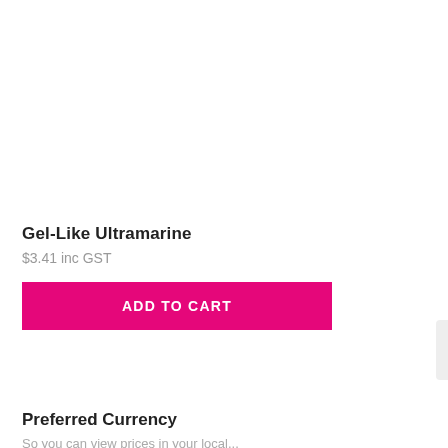[Figure (photo): Product image area (white/blank) for Gel-Like Ultramarine product]
Gel-Like Ultramarine
$3.41 inc GST
ADD TO CART
Preferred Currency
So you can view prices in your local...